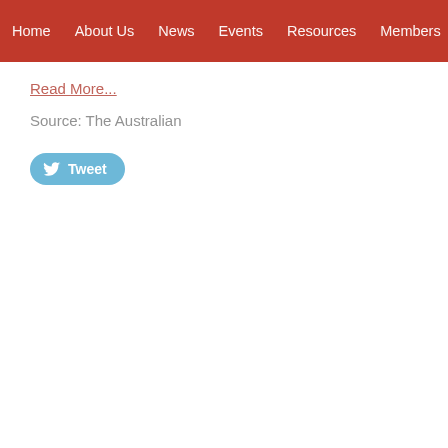Home  About Us  News  Events  Resources  Members
Read More...
Source: The Australian
[Figure (screenshot): Tweet button and LinkedIn Share button side by side]